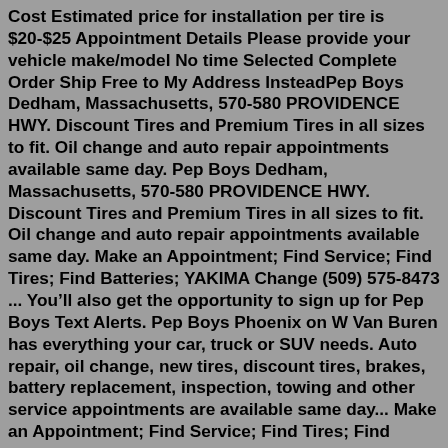Cost Estimated price for installation per tire is $20-$25 Appointment Details Please provide your vehicle make/model No time Selected Complete Order Ship Free to My Address InsteadPep Boys Dedham, Massachusetts, 570-580 PROVIDENCE HWY. Discount Tires and Premium Tires in all sizes to fit. Oil change and auto repair appointments available same day. Pep Boys Dedham, Massachusetts, 570-580 PROVIDENCE HWY. Discount Tires and Premium Tires in all sizes to fit. Oil change and auto repair appointments available same day. Make an Appointment; Find Service; Find Tires; Find Batteries; YAKIMA Change (509) 575-8473 ... You’ll also get the opportunity to sign up for Pep Boys Text Alerts. Pep Boys Phoenix on W Van Buren has everything your car, truck or SUV needs. Auto repair, oil change, new tires, discount tires, brakes, battery replacement, inspection, towing and other service appointments are available same day... Make an Appointment; Find Service; Find Tires; Find